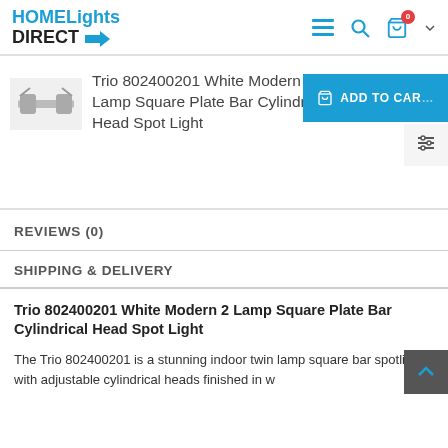HOME Lights DIRECT
Trio 802400201 White Modern 2 Lamp Square Plate Bar Cylindrical Head Spot Light
REVIEWS (0)
SHIPPING & DELIVERY
Trio 802400201 White Modern 2 Lamp Square Plate Bar Cylindrical Head Spot Light
The Trio 802400201 is a stunning indoor twin lamp square bar spotlight with adjustable cylindrical heads finished in w